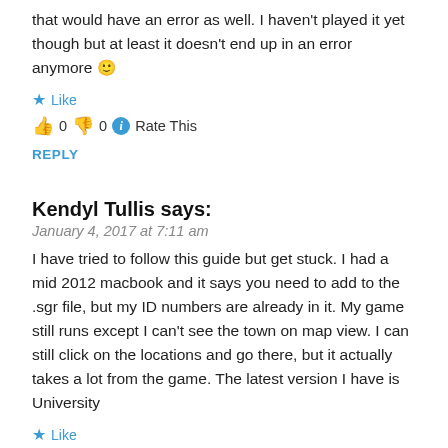So so happy! ❤ it works for outdoor living and the first tune stuff that would have an error as well. I haven't played it yet though but at least it doesn't end up in an error anymore 🙂
★ Like
👍 0 👎 0 ℹ Rate This
REPLY
Kendyl Tullis says:
January 4, 2017 at 7:11 am
I have tried to follow this guide but get stuck. I had a mid 2012 macbook and it says you need to add to the .sgr file, but my ID numbers are already in it. My game still runs except I can't see the town on map view. I can still click on the locations and go there, but it actually takes a lot from the game. The latest version I have is University
★ Like
👍 0 👎 0 ℹ Rate This